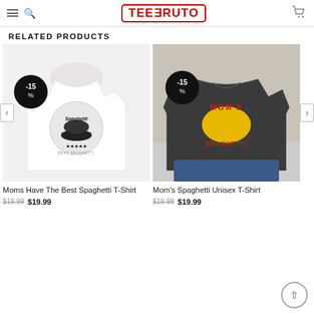TEERUTO - navigation header
RELATED PRODUCTS
[Figure (photo): White t-shirt with Spaghetti bowl graphic and -15% discount badge]
[Figure (photo): Dark gray Mom's Spaghetti Unisex T-Shirt with -15% discount badge]
Moms Have The Best Spaghetti T-Shirt
Mom's Spaghetti Unisex T-Shirt
$19.99  $19.99
$19.99  $19.99